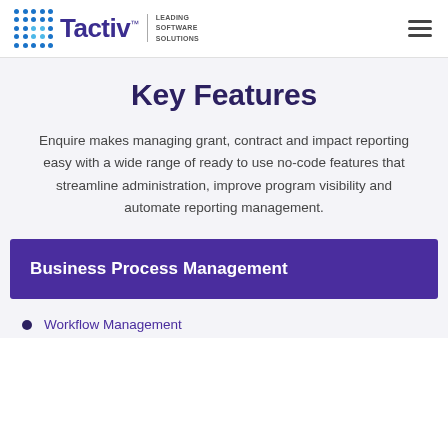[Figure (logo): Tactiv logo with dot grid icon and tagline 'Leading Software Solutions']
Key Features
Enquire makes managing grant, contract and impact reporting easy with a wide range of ready to use no-code features that streamline administration, improve program visibility and automate reporting management.
Business Process Management
Workflow Management